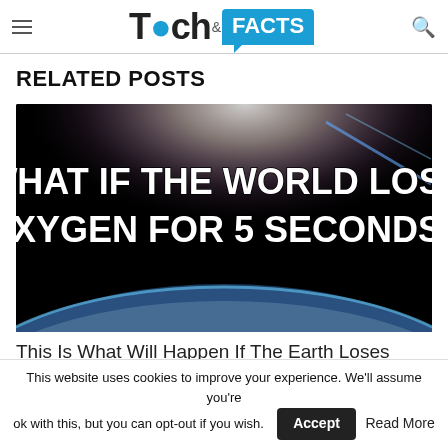Tech & FACTS
RELATED POSTS
[Figure (illustration): Dark space background showing Earth from orbit with bright sunlight at the top and the text 'WHAT IF THE WORLD LOST OXYGEN FOR 5 SECONDS?' in large bold white letters overlay.]
This Is What Will Happen If The Earth Loses Oxygen For 5 Seconds
This website uses cookies to improve your experience. We'll assume you're ok with this, but you can opt-out if you wish. Accept Read More